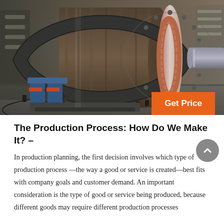[Figure (photo): Industrial machinery photo showing a large ball mill or rotary drum with a geared ring drive, mounted on supports in a factory setting. The equipment features a large cylindrical drum with a prominent gear ring and a flanged end cap with bolts.]
The Production Process: How Do We Make It? –
In production planning, the first decision involves which type of production process —the way a good or service is created—best fits with company goals and customer demand. An important consideration is the type of good or service being produced, because different goods may require different production processes